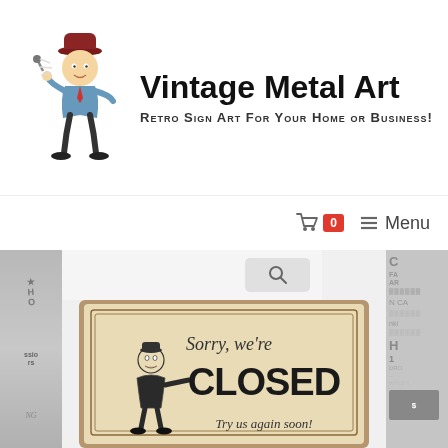[Figure (logo): Vintage Metal Art logo with retro mascot character (cartoon man in hat) and brand name]
Vintage Metal Art
Retro Sign Art For Your Home or Business!
[Figure (screenshot): Website navigation bar with shopping cart icon, badge showing 0, hamburger menu icon, and Menu label]
[Figure (photo): Vintage retro metal sign product image showing 'Sorry, we're CLOSED - Try us again soon!' with cartoon man covering mouth, aged cream background with decorative border]